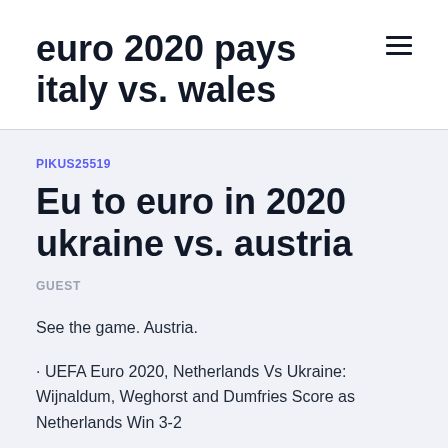euro 2020 pays italy vs. wales
PIKUS25519
Eu to euro in 2020 ukraine vs. austria
GUEST
See the game. Austria.
· UEFA Euro 2020, Netherlands Vs Ukraine: Wijnaldum, Weghorst and Dumfries Score as Netherlands Win 3-2